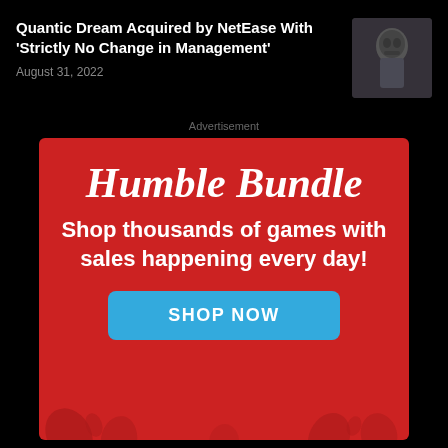Quantic Dream Acquired by NetEase With 'Strictly No Change in Management'
August 31, 2022
[Figure (photo): Thumbnail image showing a masked figure, related to a video game]
Advertisement
[Figure (infographic): Humble Bundle advertisement banner with red background. Text: 'Humble Bundle - Shop thousands of games with sales happening every day!' with a blue SHOP NOW button.]